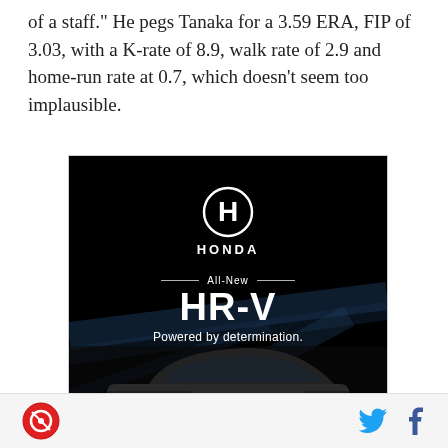of a staff." He pegs Tanaka for a 3.59 ERA, FIP of 3.03, with a K-rate of 8.9, walk rate of 2.9 and home-run rate at 0.7, which doesn't seem too implausible.
[Figure (illustration): Honda HR-V advertisement with black background, Honda logo, 'All-New HR-V' headline, 'Powered by determination.' tagline, and a dark gray Honda HR-V car in the lower portion.]
Social share icons: Twitter and Facebook